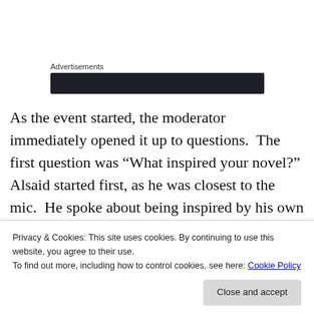Advertisements
[Figure (other): Dark advertisement banner bar]
As the event started, the moderator immediately opened it up to questions.  The first question was “What inspired your novel?” Alsaid started first, as he was closest to the mic.  He spoke about being inspired by his own cross country road trip he took, from LA to Boston. Alsaid told a funny story where, on his travels, he met a homeless man
Privacy & Cookies: This site uses cookies. By continuing to use this website, you agree to their use.
To find out more, including how to control cookies, see here: Cookie Policy
Close and accept